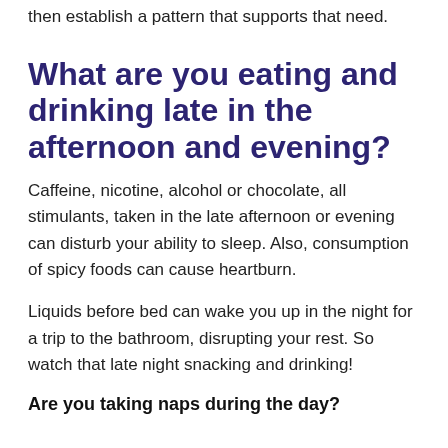then establish a pattern that supports that need.
What are you eating and drinking late in the afternoon and evening?
Caffeine, nicotine, alcohol or chocolate, all stimulants, taken in the late afternoon or evening can disturb your ability to sleep. Also, consumption of spicy foods can cause heartburn.
Liquids before bed can wake you up in the night for a trip to the bathroom, disrupting your rest. So watch that late night snacking and drinking!
Are you taking naps during the day?